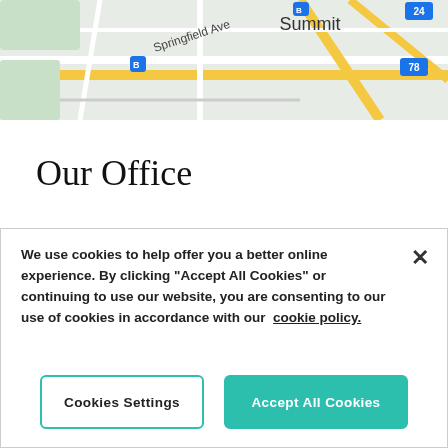[Figure (map): Google Maps screenshot showing Summit area with Springfield Ave, Houdaille Quarry, and route 78 visible]
Our Office
What impact would you like to make? At J.P. Morgan Private Bank, we'll start there. We have been helping families like yours identify, manage and meet their financial goals for generations. Highly personalized
We use cookies to help offer you a better online experience. By clicking "Accept All Cookies" or continuing to use our website, you are consenting to our use of cookies in accordance with our cookie policy.
Cookies Settings
Accept All Cookies